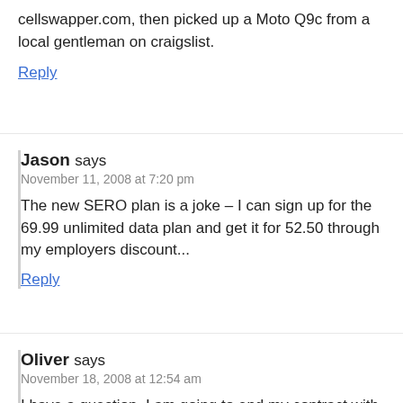cellswapper.com, then picked up a Moto Q9c from a local gentleman on craigslist.
Reply
Jason says
November 11, 2008 at 7:20 pm
The new SERO plan is a joke – I can sign up for the 69.99 unlimited data plan and get it for 52.50 through my employers discount...
Reply
Oliver says
November 18, 2008 at 12:54 am
I have a question, I am going to end my contract with verizon and I want to go to Sprint and get